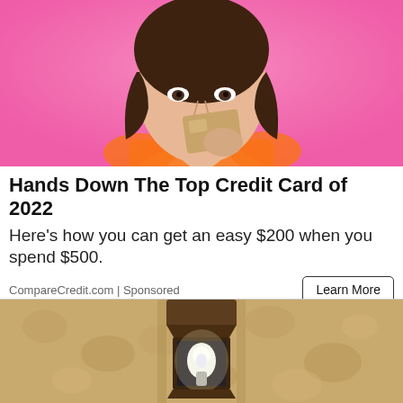[Figure (photo): Young woman with dark hair against a bright pink background, holding a gold/tan credit card up near her face, wearing an orange top.]
Hands Down The Top Credit Card of 2022
Here's how you can get an easy $200 when you spend $500.
CompareCredit.com | Sponsored
[Figure (photo): Close-up of an outdoor wall lantern/light fixture mounted on a textured stucco wall, with a white LED bulb visible inside the dark metal fixture.]